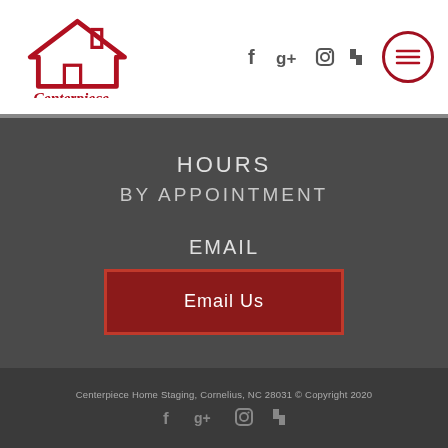[Figure (logo): Centerpiece Home Staging logo with red house icon and script text]
[Figure (infographic): Social media icons in header: Facebook, Google+, Instagram, Houzz, and hamburger menu button]
HOURS
BY APPOINTMENT
EMAIL
Email Us
Centerpiece Home Staging, Cornelius, NC 28031 © Copyright 2020
[Figure (infographic): Footer social media icons: Facebook, Google+, Instagram, Houzz]